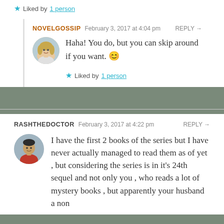Liked by 1 person
NOVELGOSSIP  February 3, 2017 at 4:04 pm  REPLY →
Haha! You do, but you can skip around if you want. 😊
Liked by 1 person
RASHTHEDOCTOR  February 3, 2017 at 4:22 pm  REPLY →
I have the first 2 books of the series but I have never actually managed to read them as of yet , but considering the series is in it's 24th sequel and not only you , who reads a lot of mystery books , but apparently your husband a non